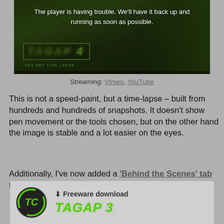[Figure (screenshot): Video player thumbnail showing TAGAP 4 key art time-lapse with error message: The player is having trouble. We'll have it back up and running as soon as possible.]
Streaming: Vimeo, YouTube
This is not a speed-paint, but a time-lapse – built from hundreds and hundreds of snapshots. It doesn't show pen movement or the tools chosen, but on the other hand the image is stable and a lot easier on the eyes.
Additionally, I've now added a 'Behind the Scenes' tab to the TAGAP 4 section – compiling all the 'making of TAGAP 4' shenanigans into one place.
[Figure (logo): TAGAP 3 freeware download card with logo and green text]